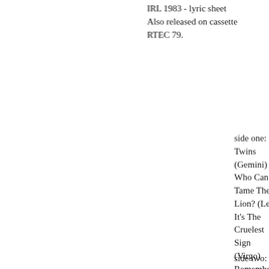IRL 1983 - lyric sheet
Also released on cassette
RTEC 79.
side one:
Twins (Gemini)
Who Can Tame The Lion? (Leo)
It's The Cruelest Sign (Virgo)
Remember You're A Winner (Aries)
When Two Stars Collide (Sagittarius)
Just Another Line (Pisces)
side two: